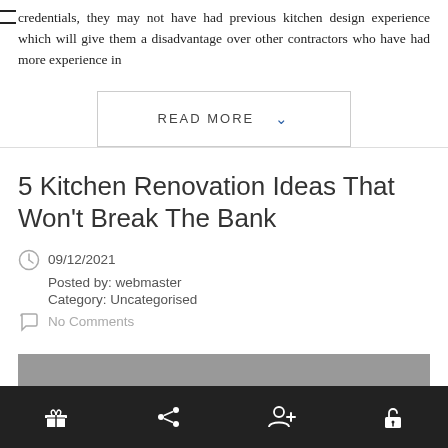credentials, they may not have had previous kitchen design experience which will give them a disadvantage over other contractors who have had more experience in
[Figure (other): READ MORE button with dropdown arrow chevron]
5 Kitchen Renovation Ideas That Won't Break The Bank
09/12/2021
Posted by: webmaster
Category: Uncategorised
No Comments
[Figure (photo): Partial view of a kitchen image at the bottom of the article]
Icon bar with gift, share, add user, and unlock icons